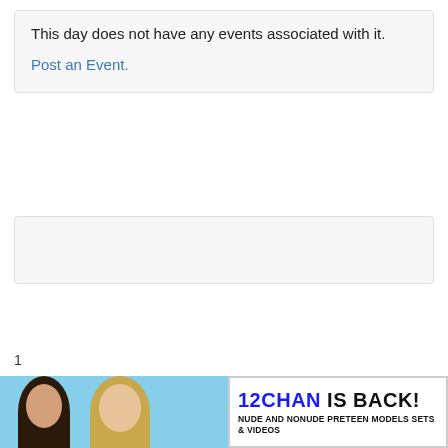This day does not have any events associated with it.
Post an Event.
1
[Figure (photo): Bottom portion of page showing people against a light blue background, partially cropped, with an advertisement banner overlay reading '12CHAN IS BACK! NUDE AND NONUDE PRETEEN MODELS SETS & VIDEOS']